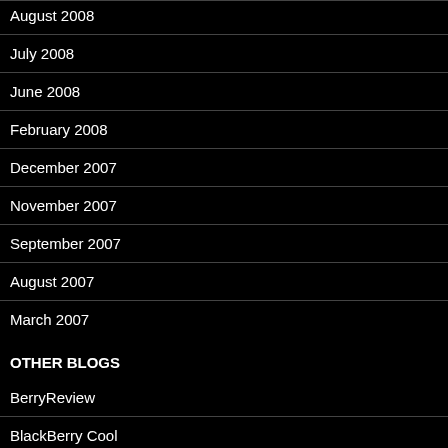August 2008
July 2008
June 2008
February 2008
December 2007
November 2007
September 2007
August 2007
March 2007
OTHER BLOGS
BerryReview
BlackBerry Cool